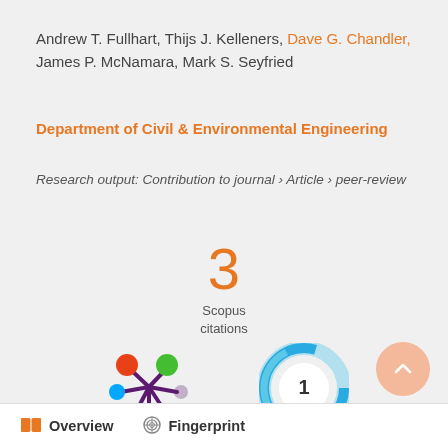Andrew T. Fullhart, Thijs J. Kelleners, Dave G. Chandler, James P. McNamara, Mark S. Seyfried
Department of Civil & Environmental Engineering
Research output: Contribution to journal › Article › peer-review
3
Scopus
citations
[Figure (logo): Altmetric donut-style logo with colored circles (orange, green, blue, purple) connected by dark purple lines forming a snowflake/asterisk pattern]
[Figure (donut-chart): Circular badge with teal/blue gradient ring and number 1 in center on white circle]
Overview   Fingerprint